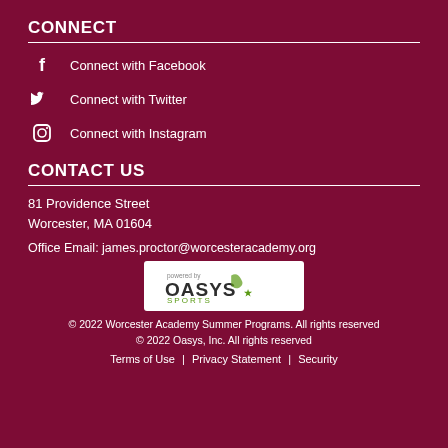CONNECT
Connect with Facebook
Connect with Twitter
Connect with Instagram
CONTACT US
81 Providence Street
Worcester, MA  01604
Office Email: james.proctor@worcesteracademy.org
[Figure (logo): Oasys Sports logo — white background with 'powered by OASYS SPORTS' text and green/grey logo]
© 2022 Worcester Academy Summer Programs. All rights reserved
© 2022 Oasys, Inc. All rights reserved
Terms of Use  |  Privacy Statement  |  Security